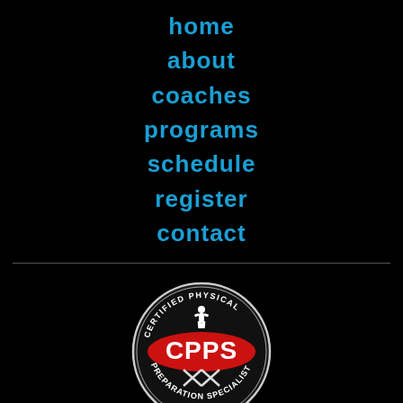home
about
coaches
programs
schedule
register
contact
[Figure (logo): CPPS - Certified Physical Preparation Specialist circular badge logo with red lettering and white athlete silhouette]